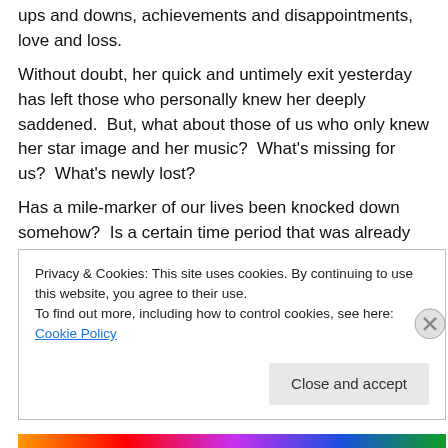ups and downs, achievements and disappointments, love and loss.
Without doubt, her quick and untimely exit yesterday has left those who personally knew her deeply saddened.  But, what about those of us who only knew her star image and her music?  What's missing for us?  What's newly lost?
Has a mile-marker of our lives been knocked down somehow?  Is a certain time period that was already finished somehow over yet again?
Privacy & Cookies: This site uses cookies. By continuing to use this website, you agree to their use.
To find out more, including how to control cookies, see here: Cookie Policy